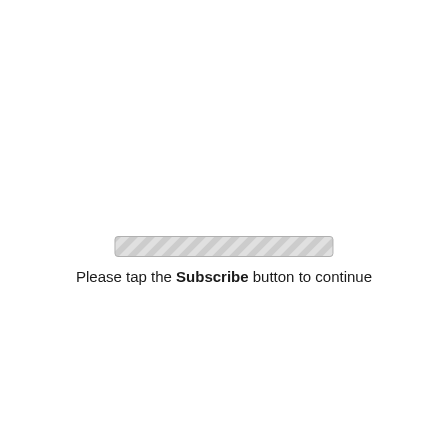[Figure (other): A horizontal striped/hatched rectangular button graphic, silver/grey diagonal stripes pattern, resembling a disabled or placeholder Subscribe button]
Please tap the Subscribe button to continue